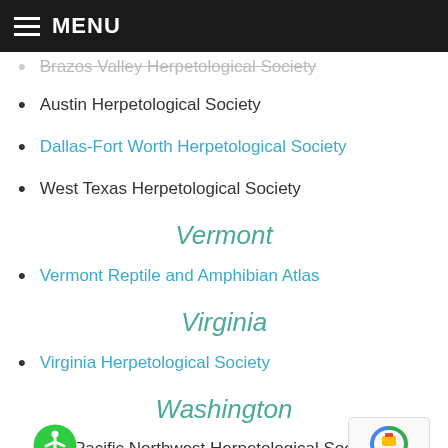MENU
Brazos Valley Herpetological Society
Austin Herpetological Society
Dallas-Fort Worth Herpetological Society
West Texas Herpetological Society
Vermont
Vermont Reptile and Amphibian Atlas
Virginia
Virginia Herpetological Society
Washington
Pacific Northwest Herpetological Society